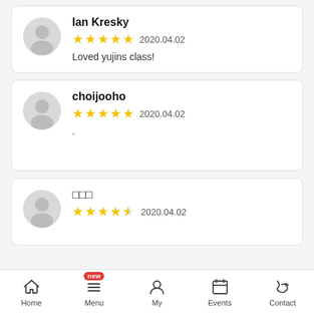Ian Kresky — 5 stars — 2020.04.02 — Loved yujins class!
choijooho — 5 stars — 2020.04.02 — .
□□□ — 4.5 stars — 2020.04.02
Home | Menu (new) | My | Events | Contact